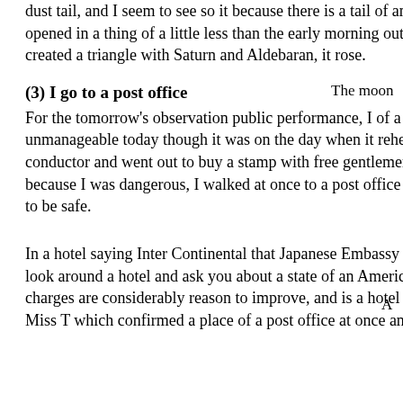dust tail, and I seem to see so it because there is a tail of an ion. I looked at an east direction from the lawn which opened in a thing of a little less than the early morning outside a hotel. Then while 28 days before new moon one day created a triangle with Saturn and Aldebaran, it rose.
The moon
(3) I go to a post office
For the tomorrow's observation public performance, I of a public performance blow observation type found time unmanageable today though it was on the day when it rehearsed it. I proposed to go to buy a local stamp for T of a tour conductor and went out to buy a stamp with free gentlemen. Though it was said to be it in a hotel if I originally went out because I was dangerous, I walked at once to a post office by saying if gentlemen surrounded Miss T with 4 and walked to be safe.
A
In a hotel saying Inter Continental that Japanese Embassy is opposite, she hears a place of a post office. We who are free look around a hotel and ask you about a state of an American unit. If it is such a hotel which seems to be high, tour charges are considerably reason to improve, and is a hotel without a shower just best to us? I left an excellent hotel with Miss T which confirmed a place of a post office at once and did a post office